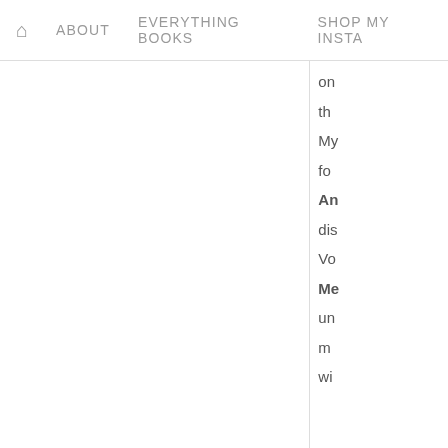🏠  ABOUT   EVERYTHING BOOKS   SHOP MY INSTA
on
th
My
fo
An
dis
Vo
Me
un
m
wi